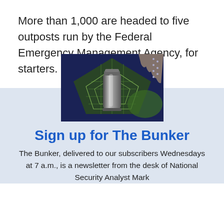More than 1,000 are headed to five outposts run by the Federal Emergency Management Agency, for starters.
[Figure (illustration): Aerial/satellite view of a pentagon-shaped building (likely the Pentagon) overlaid with a cylindrical bunker or container object, on a dark blue background with green map imagery]
Sign up for The Bunker
The Bunker, delivered to our subscribers Wednesdays at 7 a.m., is a newsletter from the desk of National Security Analyst Mark